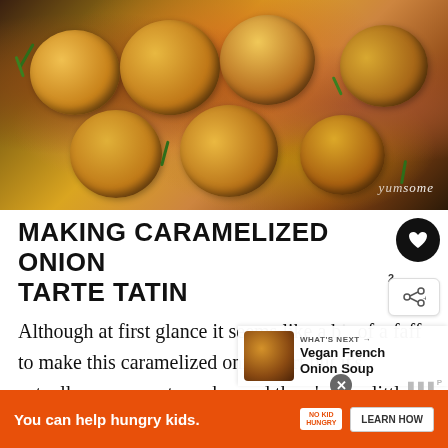[Figure (photo): Overhead photo of caramelized onions on a wooden cutting board with green herbs, watermark 'yumsome' in bottom right]
MAKING CARAMELIZED ONION TARTE TATIN
Although at first glance it seems like a bit of a faff to make this caramelized onion tart but it's actually very easy to make, and there's very little actual hands-on work to be done, as most of the cooking is done in the oven
[Figure (infographic): Ad banner: orange background, 'You can help hungry kids.' with No Kid Hungry logo and LEARN HOW button. What's Next panel: Vegan French Onion Soup]